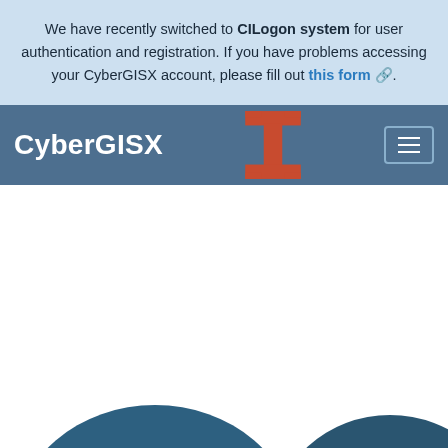We have recently switched to CILogon system for user authentication and registration. If you have problems accessing your CyberGISX account, please fill out this form.
CyberGISX
[Figure (illustration): Two dark teal mountain or hill shapes visible at the bottom of the page, partially cropped]